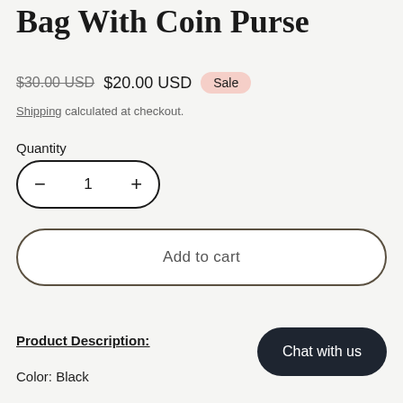Bag With Coin Purse
$30.00 USD  $20.00 USD  Sale
Shipping calculated at checkout.
Quantity
− 1 +
Add to cart
Product Description:
Color: Black
Chat with us